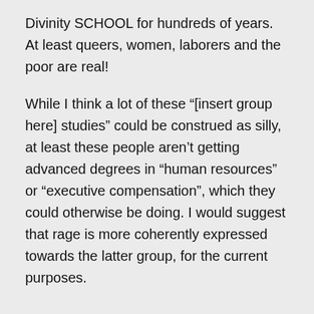Divinity SCHOOL for hundreds of years. At least queers, women, laborers and the poor are real!
While I think a lot of these “[insert group here] studies” could be construed as silly, at least these people aren’t getting advanced degrees in “human resources” or “executive compensation”, which they could otherwise be doing. I would suggest that rage is more coherently expressed towards the latter group, for the current purposes.